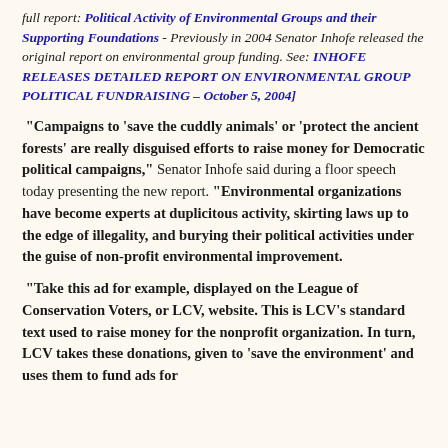full report: Political Activity of Environmental Groups and their Supporting Foundations - Previously in 2004 Senator Inhofe released the original report on environmental group funding. See: INHOFE RELEASES DETAILED REPORT ON ENVIRONMENTAL GROUP POLITICAL FUNDRAISING – October 5, 2004]
“Campaigns to ‘save the cuddly animals’ or ‘protect the ancient forests’ are really disguised efforts to raise money for Democratic political campaigns,” Senator Inhofe said during a floor speech today presenting the new report. “Environmental organizations have become experts at duplicitous activity, skirting laws up to the edge of illegality, and burying their political activities under the guise of non-profit environmental improvement.
“Take this ad for example, displayed on the League of Conservation Voters, or LCV, website. This is LCV’s standard text used to raise money for the nonprofit organization. In turn, LCV takes these donations, given to ‘save the environment’ and uses them to fund ads for